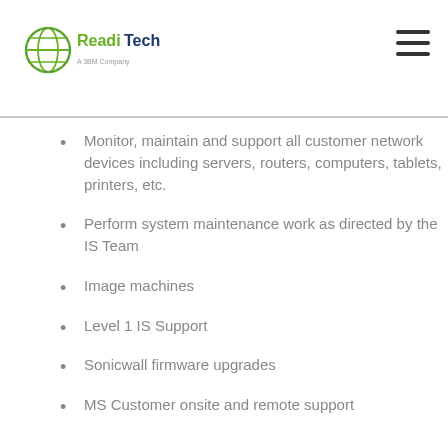ReadiTech — A 3BM Company
Monitor, maintain and support all customer network devices including servers, routers, computers, tablets, printers, etc.
Perform system maintenance work as directed by the IS Team
Image machines
Level 1 IS Support
Sonicwall firmware upgrades
MS Customer onsite and remote support